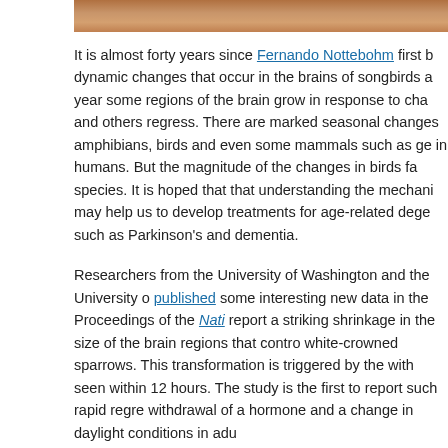[Figure (photo): Partial photo strip at the top of the page showing what appears to be a bird or animal, cropped]
It is almost forty years since Fernando Nottebohm first began to document the dynamic changes that occur in the brains of songbirds as they sing. Over the year some regions of the brain grow in response to changing daylight conditions and others regress. There are marked seasonal changes in the brains of fish, amphibians, birds and even some mammals such as gerbils, but not apparently in humans. But the magnitude of the changes in birds far exceeds any other species. It is hoped that that understanding the mechanisms behind these changes may help us to develop treatments for age-related degenerative brain diseases such as Parkinson's and dementia.
Researchers from the University of Washington and the University of... published some interesting new data in the Proceedings of the Nati... report a striking shrinkage in the size of the brain regions that control song in white-crowned sparrows. This transformation is triggered by the with... seen within 12 hours. The study is the first to report such rapid regre... withdrawal of a hormone and a change in daylight conditions in adu...
The research protocol was designed to mimic the natural seasonal c... the sparrows. Their song-control regions expand in the spring and s... season, as they use songs to establish territories and attract mates ... the birds get ready to migrate back to California, the same brain regi...